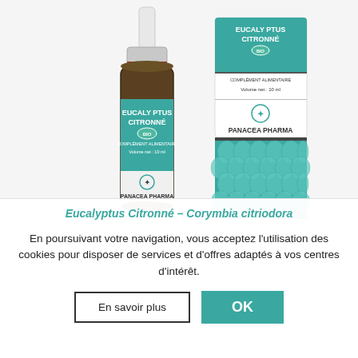[Figure (photo): Product photo of Eucalyptus Citronné BIO essential oil bottle (10ml) by Panacea Pharma alongside its packaging box. The dark amber bottle has a white dropper cap and a teal label reading 'EUCALYPTUS CITRONNÉ BIO COMPLÉMENT ALIMENTAIRE Volume net: 10 ml' with the Panacea Pharma logo. The box has the same label on top section and a decorative teal fan/shell pattern on the lower section.]
Eucalyptus Citronné – Corymbia citriodora
En poursuivant votre navigation, vous acceptez l'utilisation des cookies pour disposer de services et d'offres adaptés à vos centres d'intérêt.